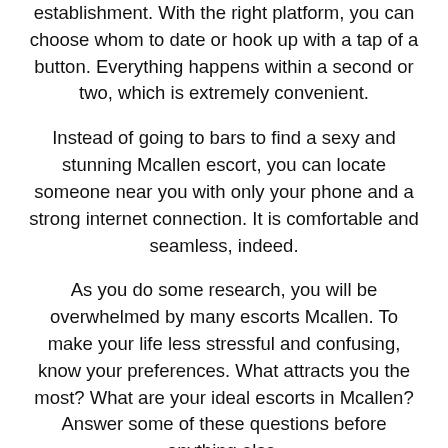establishment. With the right platform, you can choose whom to date or hook up with a tap of a button. Everything happens within a second or two, which is extremely convenient.
Instead of going to bars to find a sexy and stunning Mcallen escort, you can locate someone near you with only your phone and a strong internet connection. It is comfortable and seamless, indeed.
As you do some research, you will be overwhelmed by many escorts Mcallen. To make your life less stressful and confusing, know your preferences. What attracts you the most? What are your ideal escorts in Mcallen? Answer some of these questions before anything else.
Using the right alternative to Mcallen escort